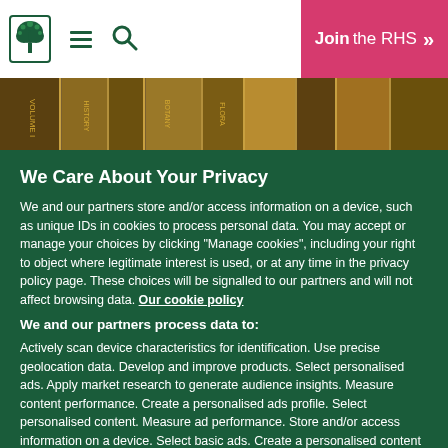RHS navigation header with logo, menu, search icons, and Join the RHS button
[Figure (photo): Close-up photo of antique books with gold lettering on spines]
We Care About Your Privacy
We and our partners store and/or access information on a device, such as unique IDs in cookies to process personal data. You may accept or manage your choices by clicking “Manage cookies”, including your right to object where legitimate interest is used, or at any time in the privacy policy page. These choices will be signalled to our partners and will not affect browsing data. Our cookie policy
We and our partners process data to:
Actively scan device characteristics for identification. Use precise geolocation data. Develop and improve products. Select personalised ads. Apply market research to generate audience insights. Measure content performance. Create a personalised ads profile. Select personalised content. Measure ad performance. Store and/or access information on a device. Select basic ads. Create a personalised content profile.
List of partners (vendors)